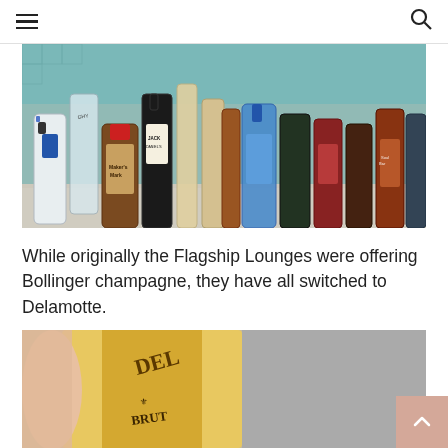Navigation menu and search icon
[Figure (photo): Bar shelf with many liquor bottles including Hangar 1 vodka, Maker's Mark bourbon, Jack Daniel's, Bombay Sapphire, and other spirits arranged in front of a teal tile background]
While originally the Flagship Lounges were offering Bollinger champagne, they have all switched to Delamotte.
[Figure (photo): Close-up of a gold foil champagne bottle neck showing 'DEL' and 'BRUT' text, being held by a hand, with a grey surface in the background]